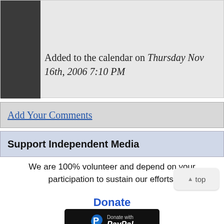Added to the calendar on Thursday Nov 16th, 2006 7:10 PM
Add Your Comments
Support Independent Media
We are 100% volunteer and depend on your participation to sustain our efforts!
Donate
[Figure (logo): PayPal Donate button - black background with PayPal logo and 'Donate with PayPal' text]